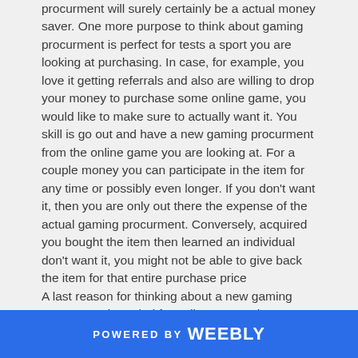procurment will surely certainly be a actual money saver. One more purpose to think about gaming procurment is perfect for tests a sport you are looking at purchasing. In case, for example, you love it getting referrals and also are willing to drop your money to purchase some online game, you would like to make sure to actually want it. You skill is go out and have a new gaming procurment from the online game you are looking at. For a couple money you can participate in the item for any time or possibly even longer. If you don't want it, then you are only out there the expense of the actual gaming procurment. Conversely, acquired you bought the item then learned an individual don't want it, you might not be able to give back the item for that entire purchase price
A last reason for thinking about a new gaming procurment intended for online games that may employ a distinctive concluding. A few online games, similar to adventuring online games, offer an finish stage. Upon having determined tips on how to earn the game, it is ineffective for your requirements. In case you are efficient at experience online games which enable
POWERED BY weebly